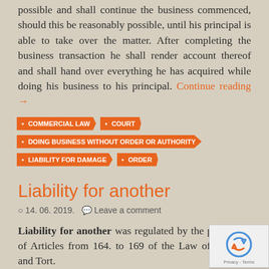possible and shall continue the business commenced, should this be reasonably possible, until his principal is able to take over the matter. After completing the business transaction he shall render account thereof and shall hand over everything he has acquired while doing his business to his principal. Continue reading →
• COMMERCIAL LAW
• COURT
• DOING BUSINESS WITHOUT ORDER OR AUTHORITY
• LIABILITY FOR DAMAGE
• ORDER
Liability for another
14. 06. 2019.   Leave a comment
Liability for another was regulated by the provisions of Articles from 164. to 169 of the Law of Contract and Tort.
With liability for another varies the perpetrator of damage – tort-feasor from the responsible person – a